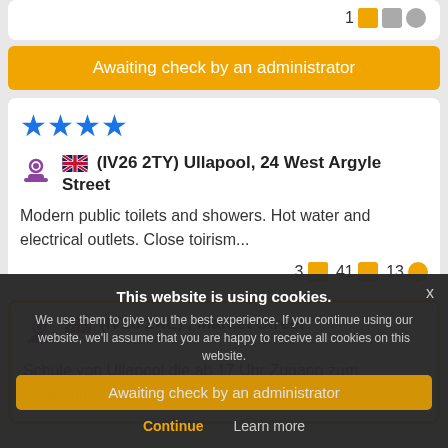1
Awaiting check by an administrator
[Figure (screenshot): 4 blue stars rating]
(IV26 2TY) Ullapool, 24 West Argyle Street
Modern public toilets and showers. Hot water and electrical outlets. Close toirism...
3  41  13
(IV26 2XE) , Market Street
Schule von Ullapool die ab 17 Uhr Zugang zum Schwimmb...
Awaiting check by an administrator
This website is using cookies.
We use them to give you the best experience. If you continue using our website, we'll assume that you are happy to receive all cookies on this website.
Continue
Learn more